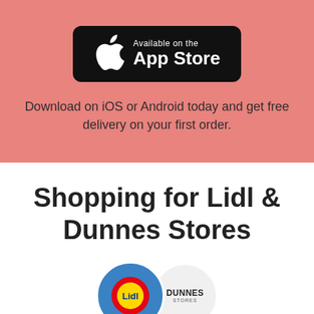[Figure (logo): App Store badge on salmon/pink background with Apple logo, text 'Available on the' and 'App Store']
Download on iOS or Android today and get free delivery on your first order.
Shopping for Lidl & Dunnes Stores
[Figure (logo): Lidl circular logo and Dunnes Stores circular logo side by side, partially overlapping]